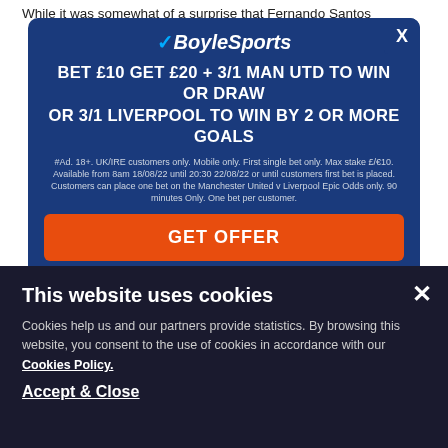While it was somewhat of a surprise that Fernando Santos
[Figure (screenshot): BoyleSports advertisement overlay with blue background. Logo at top, headline: BET £10 GET £20 + 3/1 MAN UTD TO WIN OR DRAW OR 3/1 LIVERPOOL TO WIN BY 2 OR MORE GOALS. Terms text below. Orange GET OFFER button. Carousel dots at bottom. Close X button top right.]
he's likely to opt for a more attacking style this time around.
Marco Rossi (Hungary)
Hungary have been chucked in a group containing
This website uses cookies
Cookies help us and our partners provide statistics. By browsing this website, you consent to the use of cookies in accordance with our Cookies Policy.
Accept & Close